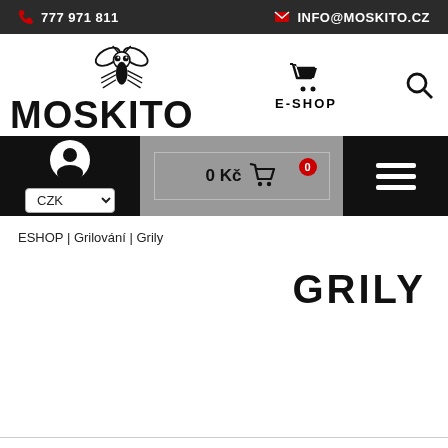777 971 811  INFO@MOSKITO.CZ
[Figure (logo): Moskito logo with stylized mosquito illustration and MOSKITO text]
E-SHOP
0 Kč  0
CZK
ESHOP | Grilování | Grily
GRILY